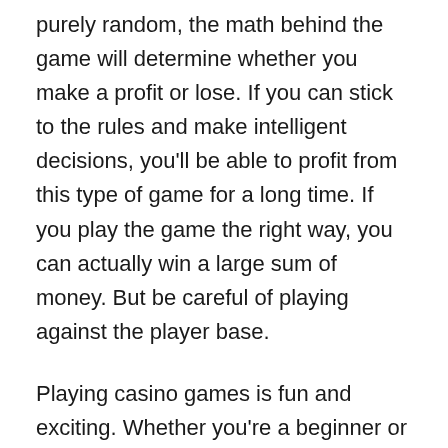purely random, the math behind the game will determine whether you make a profit or lose. If you can stick to the rules and make intelligent decisions, you'll be able to profit from this type of game for a long time. If you play the game the right way, you can actually win a large sum of money. But be careful of playing against the player base.
Playing casino games is fun and exciting. Whether you're a beginner or a professional, you'll find a casino game that suits your skill level. The thrill of risk-taking and strategizing is what keeps many players playing online. And online casinos are an excellent way to